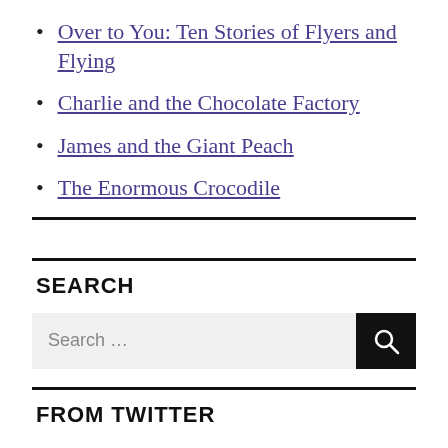Over to You: Ten Stories of Flyers and Flying
Charlie and the Chocolate Factory
James and the Giant Peach
The Enormous Crocodile
SEARCH
FROM TWITTER